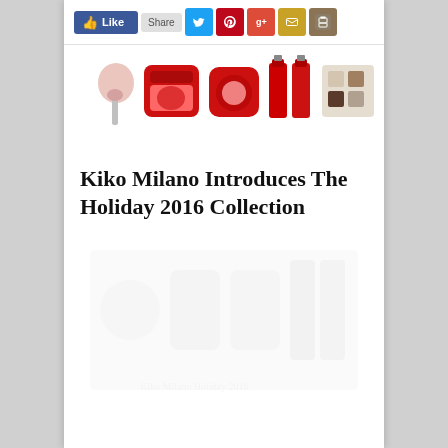[Figure (infographic): Social media sharing bar with Facebook Like, Share, Twitter, Pinterest, Google+, Email, and Print buttons]
[Figure (photo): Kiko Milano makeup products including blush brush, red compact powders, red nail polish bottles, and eyeshadow palette arranged in a row on white background]
Kiko Milano Introduces The Holiday 2016 Collection
[Figure (photo): Faded/watermark photo of Kiko Milano Holiday 2016 collection products]